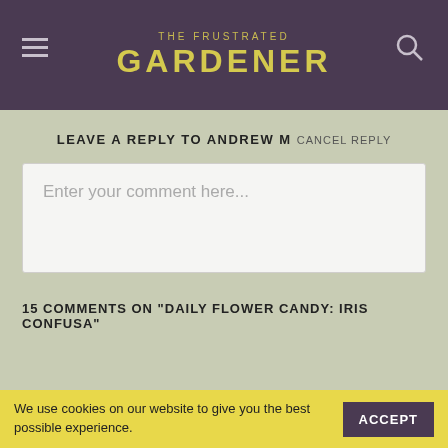THE FRUSTRATED GARDENER
LEAVE A REPLY TO ANDREW M CANCEL REPLY
[Figure (screenshot): Comment text input box with placeholder text 'Enter your comment here...']
15 COMMENTS ON "DAILY FLOWER CANDY: IRIS CONFUSA"
SYLVIA POCOCK
May 18, 2016 at 7:59 am
The hunt is on! Thanks for introducing me to yet another
We use cookies on our website to give you the best possible experience.